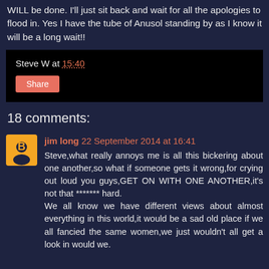WILL be done. I'll just sit back and wait for all the apologies to flood in. Yes I have the tube of Anusol standing by as I know it will be a long wait!!
Steve W at 15:40
Share
18 comments:
jim long 22 September 2014 at 16:41
Steve,what really annoys me is all this bickering about one another,so what if someone gets it wrong,for crying out loud you guys,GET ON WITH ONE ANOTHER,it's not that ******* hard.
We all know we have different views about almost everything in this world,it would be a sad old place if we all fancied the same women,we just wouldn't all get a look in would we.